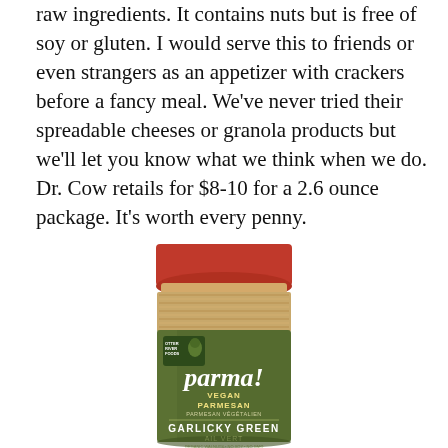raw ingredients. It contains nuts but is free of soy or gluten. I would serve this to friends or even strangers as an appetizer with crackers before a fancy meal. We've never tried their spreadable cheeses or granola products but we'll let you know what we think when we do. Dr. Cow retails for $8-10 for a 2.6 ounce package. It's worth every penny.
[Figure (photo): A jar/bottle of Parma! Vegan Parmesan in Garlicky Green flavor, with a red lid, a tan/beige body showing the granular product, and a dark olive green label reading 'parma! VEGAN PARMESAN PARMESAN VÉGÉTALIEN GARLICKY GREEN AIL VERT ORGANIC WALNUTS • NO SOY • NO GMO GLUTEN FREE • CANDIDA FREE NO PRESERVATIVES'. A small Otter River Foods logo is in the top-left of the label.]